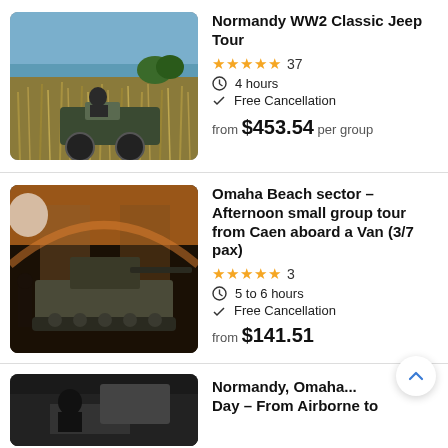[Figure (photo): A person driving a vintage military jeep through tall grass with ocean in background]
Normandy WW2 Classic Jeep Tour
★★★★★ 37
⏱ 4 hours
✓ Free Cancellation
from $453.54 per group
[Figure (photo): A World War 2 tank on display inside a museum with orange-lit arched ceiling]
Omaha Beach sector – Afternoon small group tour from Caen aboard a Van (3/7 pax)
★★★★★ 3
⏱ 5 to 6 hours
✓ Free Cancellation
from $141.51
[Figure (photo): Partial view of a third tour listing image (cropped)]
Normandy, Omaha... Day – From Airborne to